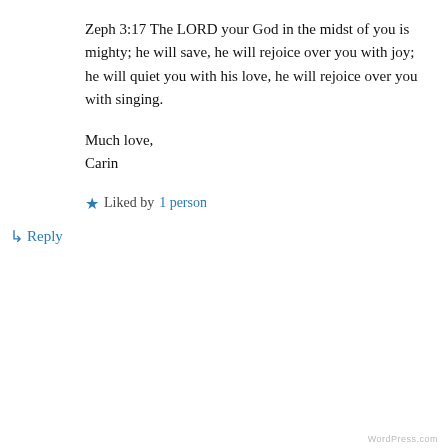Zeph 3:17 The LORD your God in the midst of you is mighty; he will save, he will rejoice over you with joy; he will quiet you with his love, he will rejoice over you with singing.
Much love,
Carin
★ Liked by 1 person
↳ Reply
Privacy & Cookies: This site uses cookies. By continuing to use this website, you agree to their use.
To find out more, including how to control cookies, see here: Cookie Policy
Close and accept